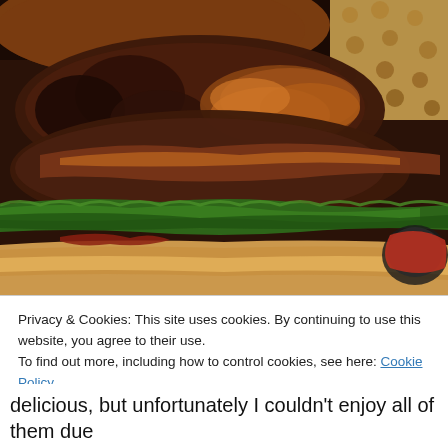[Figure (photo): Close-up photo of a burger cross-section showing two beef patties with caramelized onions, lettuce, and a bun bottom, with a side of sauce visible on the right.]
Privacy & Cookies: This site uses cookies. By continuing to use this website, you agree to their use.
To find out more, including how to control cookies, see here: Cookie Policy
Close and accept
delicious, but unfortunately I couldn't enjoy all of them due